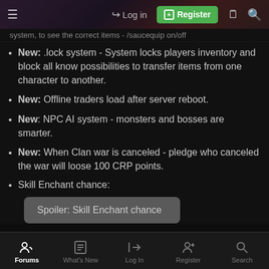Navigation bar with hamburger menu, Log in, Register, document icon, search icon
system, to see the correct items - /saucequip on/off
New: .lock system - System locks players inventory and block all know possibilities to transfer items from one character to another.
New: Offline traders load after server reboot.
New: NPC AI system - monsters and bosses are smarter.
New: When Clan war is canceled - pledge who canceled the war will loose 100 CRP points.
Skill Enchant chance:
Spoiler: Skill Enchant chance
Olympiad:
Forums | What's New | Log In | Register | Search